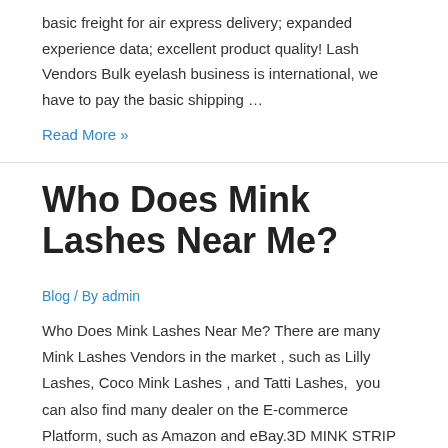basic freight for air express delivery; expanded experience data; excellent product quality! Lash Vendors Bulk eyelash business is international, we have to pay the basic shipping …
Read More »
Who Does Mink Lashes Near Me?
Blog / By admin
Who Does Mink Lashes Near Me? There are many Mink Lashes Vendors in the market , such as Lilly Lashes, Coco Mink Lashes , and Tatti Lashes,  you can also find many dealer on the E-commerce Platform, such as Amazon and eBay.3D MINK STRIP LASHES VENDOR VEGAN EYELASHES CUSTOM PACK BOXES FACTORY BETS LUXURY LASH 25MM 20MM 13 18MM .ALL STYLE ...